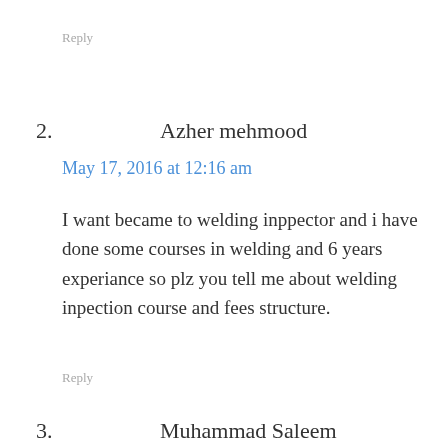Reply
2. Azher mehmood
May 17, 2016 at 12:16 am
I want became to welding inppector and i have done some courses in welding and 6 years experiance so plz you tell me about welding inpection course and fees structure.
Reply
3. Muhammad Saleem